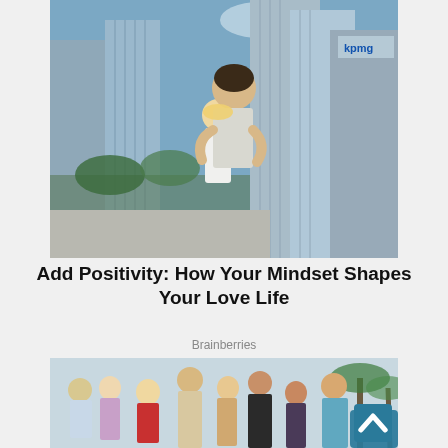[Figure (photo): A couple embracing on a rooftop with city skyscrapers in the background including a KPMG building. A man with dark curly hair hugs a blonde woman from behind. Urban cityscape with tall glass buildings.]
Add Positivity: How Your Mindset Shapes Your Love Life
Brainberries
[Figure (photo): Group photo of young teenagers and young adults, likely cast of a TV show, posing together with palm trees in the background. Multiple people in casual colorful clothing.]